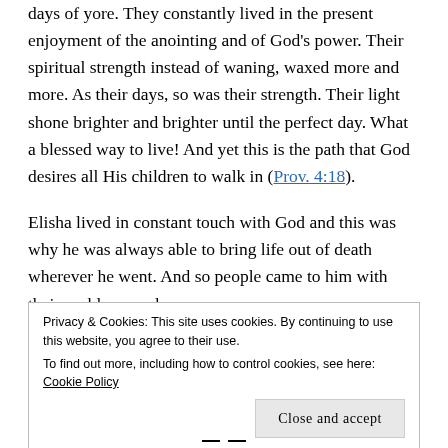days of yore. They constantly lived in the present enjoyment of the anointing and of God's power. Their spiritual strength instead of waning, waxed more and more. As their days, so was their strength. Their light shone brighter and brighter until the perfect day. What a blessed way to live! And yet this is the path that God desires all His children to walk in (Prov. 4:18).
Elisha lived in constant touch with God and this was why he was always able to bring life out of death wherever he went. And so people came to him with their problems and
Privacy & Cookies: This site uses cookies. By continuing to use this website, you agree to their use.
To find out more, including how to control cookies, see here: Cookie Policy
Close and accept
— —